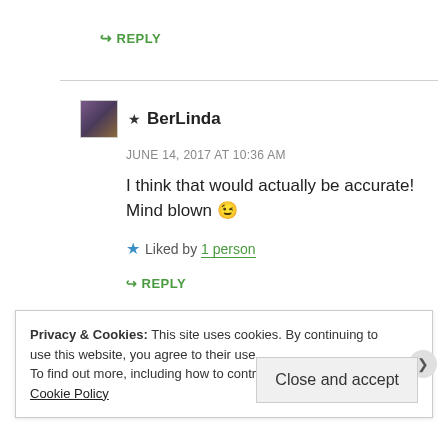↪ REPLY
★ BerLinda
JUNE 14, 2017 AT 10:36 AM
I think that would actually be accurate! Mind blown 😉
★ Liked by 1 person
↪ REPLY
Privacy & Cookies: This site uses cookies. By continuing to use this website, you agree to their use.
To find out more, including how to control cookies, see here: Cookie Policy
Close and accept